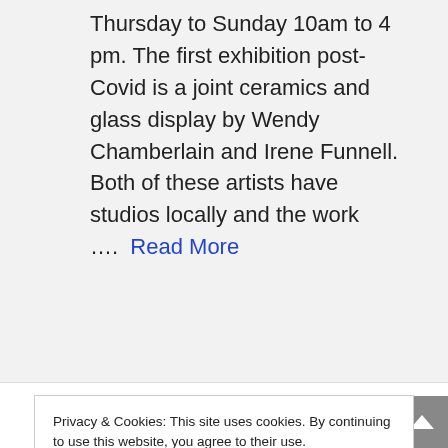Thursday to Sunday 10am to 4 pm. The first exhibition post-Covid is a joint ceramics and glass display by Wendy Chamberlain and Irene Funnell. Both of these artists have studios locally and the work …. Read More
•
Privacy & Cookies: This site uses cookies. By continuing to use this website, you agree to their use. To find out more, including how to control cookies, see here: Cookie Policy
Close and accept